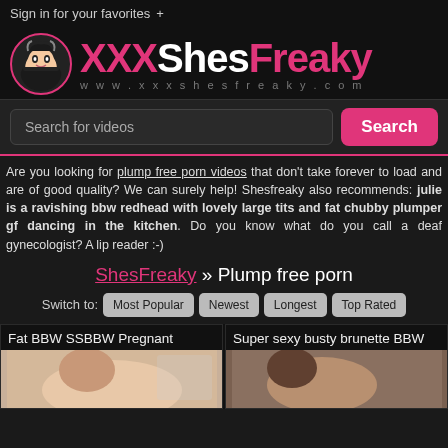Sign in for your favorites +
[Figure (logo): XXXShesFreaky logo with anime girl icon and www.xxxshesfreaky.com URL]
Search for videos
Are you looking for plump free porn videos that don't take forever to load and are of good quality? We can surely help! Shesfreaky also recommends: julie is a ravishing bbw redhead with lovely large tits and fat chubby plumper gf dancing in the kitchen. Do you know what do you call a deaf gynecologist? A lip reader :-)
ShesFreaky » Plump free porn
Switch to: Most Popular Newest Longest Top Rated
Fat BBW SSBBW Pregnant
Super sexy busty brunette BBW